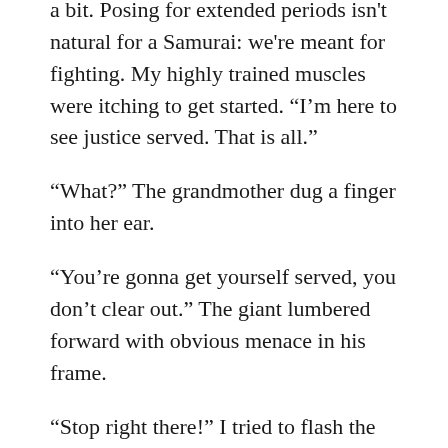pose slightly. I was starting to cramp up a bit. Posing for extended periods isn't natural for a Samurai: we're meant for fighting. My highly trained muscles were itching to get started. “I'm here to see justice served. That is all.”
“What?” The grandmother dug a finger into her ear.
“You’re gonna get yourself served, you don’t clear out.” The giant lumbered forward with obvious menace in his frame.
“Stop right there!” I tried to flash the sunlight into his eyes again with my blade. It didn’t work. I backed up, shuffling my bare soles across the grass.